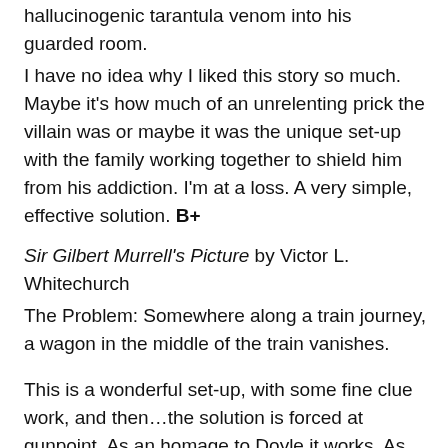hallucinogenic tarantula venom into his guarded room.
I have no idea why I liked this story so much. Maybe it's how much of an unrelenting prick the villain was or maybe it was the unique set-up with the family working together to shield him from his addiction. I'm at a loss. A very simple, effective solution. B+
Sir Gilbert Murrell's Picture by Victor L. Whitechurch
The Problem: Somewhere along a train journey, a wagon in the middle of the train vanishes.
This is a wonderful set-up, with some fine clue work, and then...the solution is forced at gunpoint. As an homage to Doyle it works. As an interactive mystery, it's sorely lacking. Granted, the trick is neat. It needs some work on the presentation. C